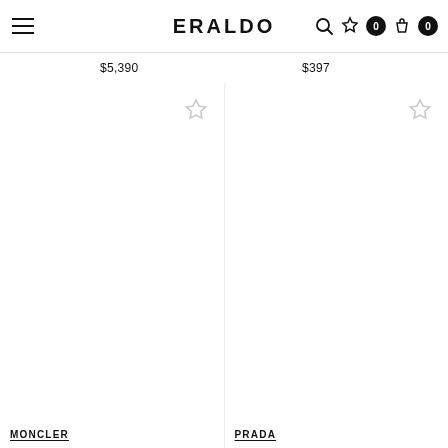ERALDO — navigation bar with hamburger menu, logo, search, wishlist, bag icons
$5,390
$397
[Figure (other): Product card for Moncler item with wishlist star icon, empty product image area]
[Figure (other): Product card for Prada item with wishlist star icon, empty product image area]
MONCLER
PRADA